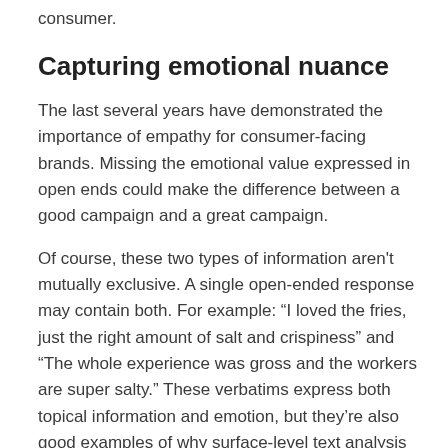consumer.
Capturing emotional nuance
The last several years have demonstrated the importance of empathy for consumer-facing brands. Missing the emotional value expressed in open ends could make the difference between a good campaign and a great campaign.
Of course, these two types of information aren't mutually exclusive. A single open-ended response may contain both. For example: “I loved the fries, just the right amount of salt and crispiness” and “The whole experience was gross and the workers are super salty.” These verbatims express both topical information and emotion, but they’re also good examples of why surface-level text analysis often fails.